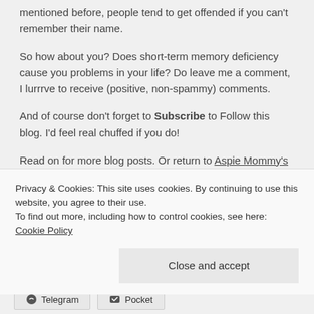mentioned before, people tend to get offended if you can't remember their name.
So how about you? Does short-term memory deficiency cause you problems in your life? Do leave me a comment, I lurrrve to receive (positive, non-spammy) comments.
And of course don't forget to Subscribe to Follow this blog. I'd feel real chuffed if you do!
Read on for more blog posts. Or return to Aspie Mommy's Blog Home Page.
Privacy & Cookies: This site uses cookies. By continuing to use this website, you agree to their use.
To find out more, including how to control cookies, see here:
Cookie Policy
Close and accept